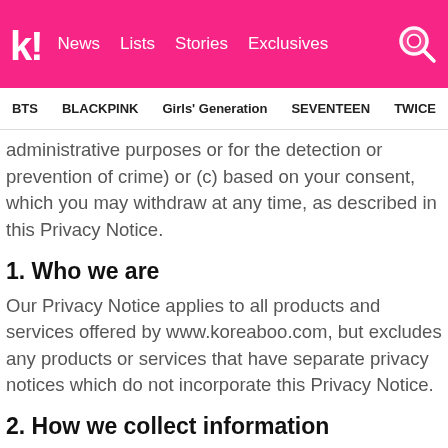Koreaboo | News | Lists | Stories | Exclusives
BTS | BLACKPINK | Girls' Generation | SEVENTEEN | TWICE
administrative purposes or for the detection or prevention of crime) or (c) based on your consent, which you may withdraw at any time, as described in this Privacy Notice.
1. Who we are
Our Privacy Notice applies to all products and services offered by www.koreaboo.com, but excludes any products or services that have separate privacy notices which do not incorporate this Privacy Notice.
2. How we collect information
To the extent permissible under applicable law, we